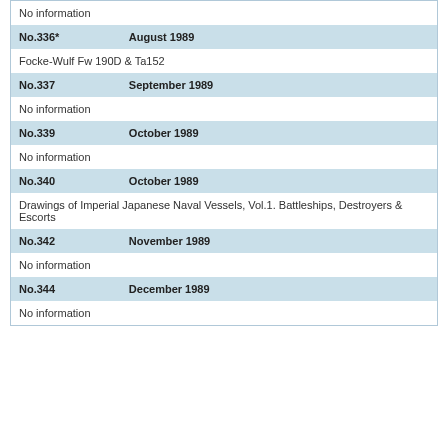| No. | Date | Content |
| --- | --- | --- |
|  |  | No information |
| No.336* | August 1989 |  |
|  |  | Focke-Wulf Fw 190D & Ta152 |
| No.337 | September 1989 |  |
|  |  | No information |
| No.339 | October 1989 |  |
|  |  | No information |
| No.340 | October 1989 |  |
|  |  | Drawings of Imperial Japanese Naval Vessels, Vol.1. Battleships, Destroyers & Escorts |
| No.342 | November 1989 |  |
|  |  | No information |
| No.344 | December 1989 |  |
|  |  | No information |